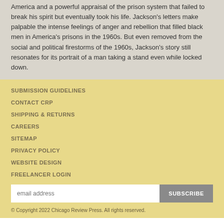America and a powerful appraisal of the prison system that failed to break his spirit but eventually took his life. Jackson's letters make palpable the intense feelings of anger and rebellion that filled black men in America's prisons in the 1960s. But even removed from the social and political firestorms of the 1960s, Jackson's story still resonates for its portrait of a man taking a stand even while locked down.
SUBMISSION GUIDELINES
CONTACT CRP
SHIPPING & RETURNS
CAREERS
SITEMAP
PRIVACY POLICY
WEBSITE DESIGN
FREELANCER LOGIN
© Copyright 2022 Chicago Review Press. All rights reserved.